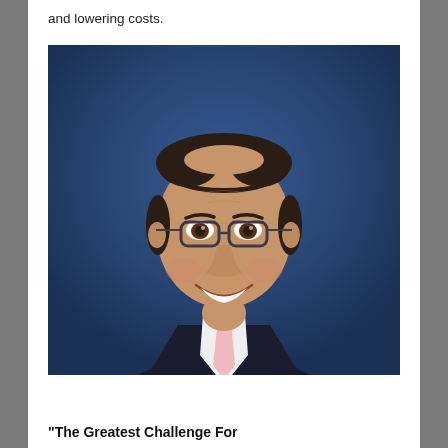and lowering costs.
[Figure (photo): Professional headshot of a middle-aged man with glasses, wearing a dark suit and light pink tie, smiling, against a blue background.]
"The Greatest Challenge For Healthcare Providers Is To..."